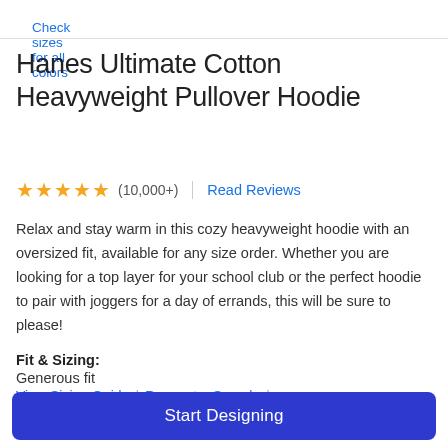Check sizes for all colors
Hanes Ultimate Cotton Heavyweight Pullover Hoodie
★★★★★ (10,000+) | Read Reviews
Relax and stay warm in this cozy heavyweight hoodie with an oversized fit, available for any size order. Whether you are looking for a top layer for your school club or the perfect hoodie to pair with joggers for a day of errands, this will be sure to please!
Fit & Sizing: Generous fit
View Sizing Guide | Request a Sample |
Start Designing